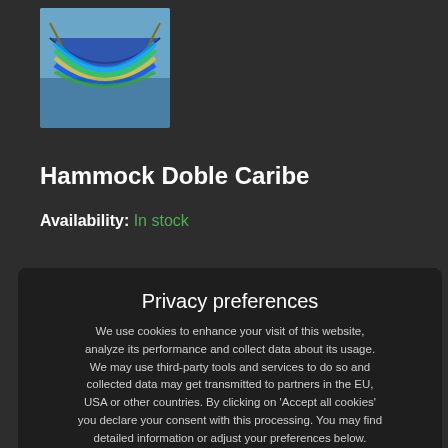[Figure (photo): Photo of a colorful hammock (Hammock Doble Caribe) displayed outdoors with blue, green, and yellow stripes]
Hammock Doble Caribe
Availability: In stock
€ with VAT
DD TO CART
Privacy preferences
We use cookies to enhance your visit of this website, analyze its performance and collect data about its usage. We may use third-party tools and services to do so and collected data may get transmitted to partners in the EU, USA or other countries. By clicking on 'Accept all cookies' you declare your consent with this processing. You may find detailed information or adjust your preferences below.
Privacy declaration
Show details
Accept all cookies
[Figure (photo): Partial photo of the colorful hammock at bottom of page]